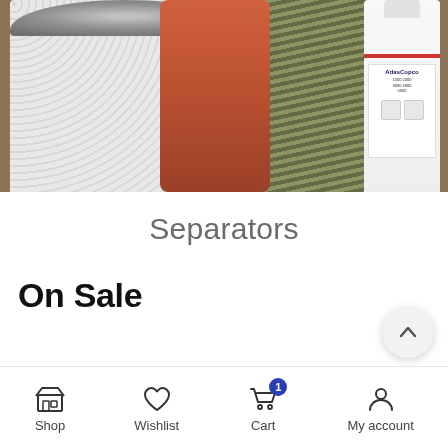[Figure (photo): Close-up photo of industrial compressor filter parts including a cylindrical white pleated filter, an orange/brown cap, a green-wrapped filter cylinder, and a white bottle with label (Atlas Copco or similar brand)]
Separators
On Sale
Shop  Wishlist  Cart  My account